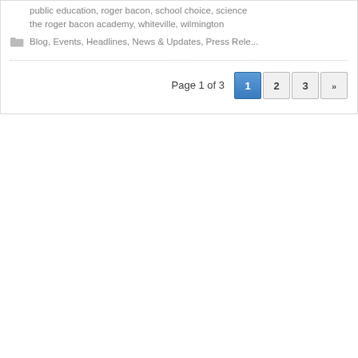public education, roger bacon, school choice, science, the roger bacon academy, whiteville, wilmington
Blog, Events, Headlines, News & Updates, Press Rele...
Page 1 of 3  1  2  3  »